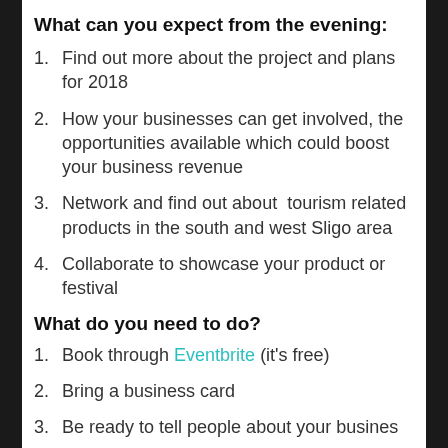What can you expect from the evening:
Find out more about the project and plans for 2018
How your businesses can get involved, the opportunities available which could boost your business revenue
Network and find out about  tourism related products in the south and west Sligo area
Collaborate to showcase your product or festival
What do you need to do?
Book through Eventbrite (it's free)
Bring a business card
Be ready to tell people about your business